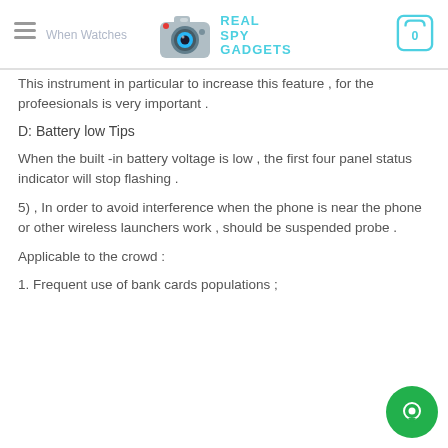Real Spy Gadgets
This instrument in particular to increase this feature , for the profeesionals is very important .
D: Battery low Tips
When the built -in battery voltage is low , the first four panel status indicator will stop flashing .
5) , In order to avoid interference when the phone is near the phone or other wireless launchers work , should be suspended probe .
Applicable to the crowd :
1. Frequent use of bank cards populations ;